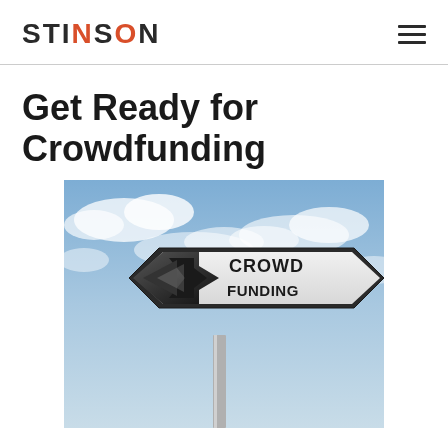STINSON
Get Ready for Crowdfunding
[Figure (photo): A road sign pointing left with the text CROWD FUNDING against a cloudy blue sky background, mounted on a metal pole]